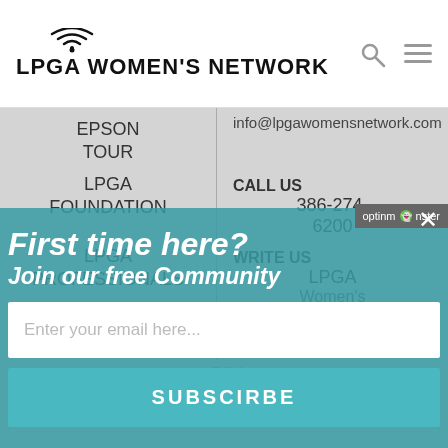LPGA WOMEN'S NETWORK
| Navigation | Contact |
| --- | --- |
| EPSON TOUR | info@lpgawomensnetwork.com |
| LPGA FOUNDATION | CALL US 386-274-6200 |
| LPGA PROFESSIONALS | WRITE US LPGA Women's |
| LPGA*USGA GIRLS GOLF |  |
| LPGA AMATEURS |  |
| LPGA |  |
[Figure (screenshot): OptinMonster popup overlay with teal background, showing 'First time here? Join our free Community' headline, email input field with placeholder 'Enter your email here...', and SUBSCIRBE button]
First time here?
Join our free Community
Enter your email here...
SUBSCIRBE